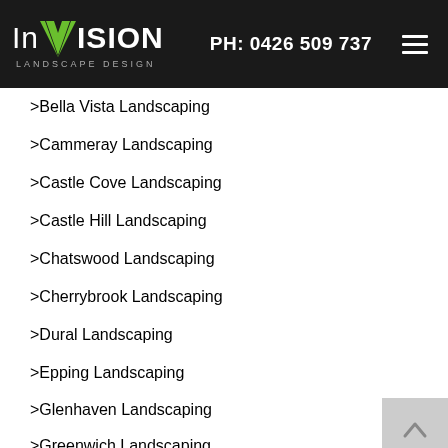InVISION LANDSCAPE DESIGN | PH: 0426 509 737
Bella Vista Landscaping
Cammeray Landscaping
Castle Cove Landscaping
Castle Hill Landscaping
Chatswood Landscaping
Cherrybrook Landscaping
Dural Landscaping
Epping Landscaping
Glenhaven Landscaping
Greenwich Landscaping